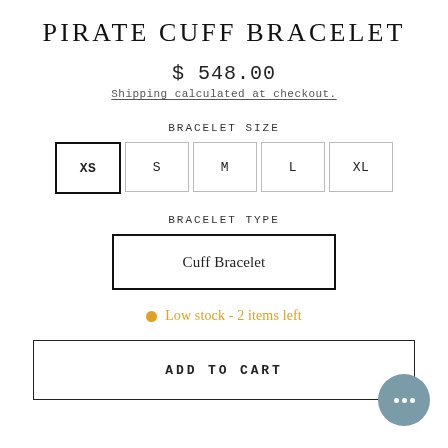PIRATE CUFF BRACELET
$ 548.00
Shipping calculated at checkout.
BRACELET SIZE
XS  S  M  L  XL
BRACELET TYPE
Cuff Bracelet
Low stock - 2 items left
ADD TO CART